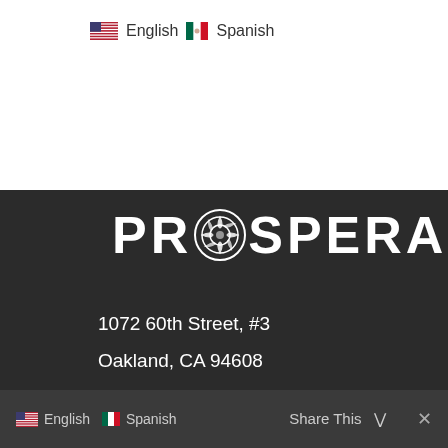🇺🇸 English  🇲🇽 Spanish
[Figure (logo): PROSPERA logo with decorative circular emblem replacing the letter O, white text on dark background]
1072 60th Street, #3
Oakland, CA 94608
(510) 695-2270
info@prosperacoops.org
🇺🇸 English  🇲🇽 Spanish  Share This ∨  ✕